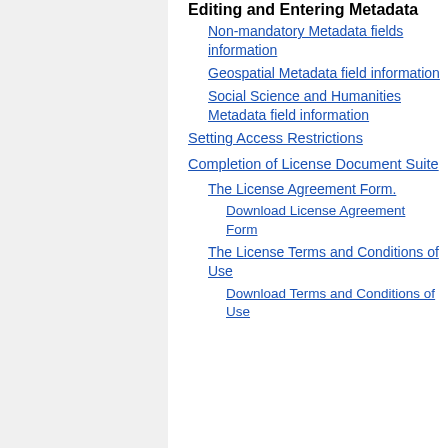Editing and Entering Metadata
Non-mandatory Metadata fields information
Geospatial Metadata field information
Social Science and Humanities Metadata field information
Setting Access Restrictions
Completion of License Document Suite
The License Agreement Form.
Download License Agreement Form
The License Terms and Conditions of Use
Download Terms and Conditions of Use